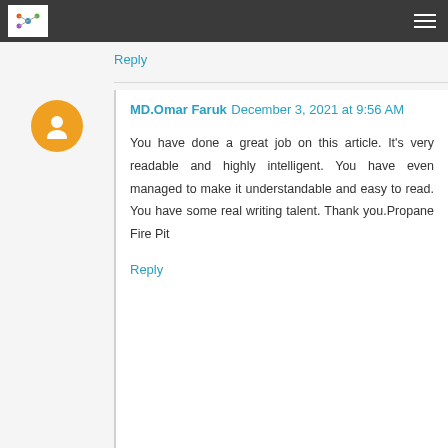Propane Fire Pit
Reply
MD.Omar Faruk  December 3, 2021 at 9:56 AM
You have done a great job on this article. It's very readable and highly intelligent. You have even managed to make it understandable and easy to read. You have some real writing talent. Thank you.Propane Fire Pit
Reply